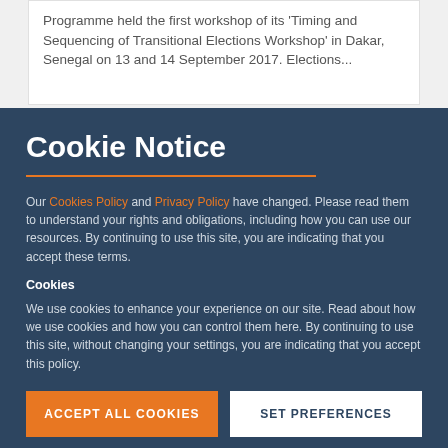Programme held the first workshop of its 'Timing and Sequencing of Transitional Elections Workshop' in Dakar, Senegal on 13 and 14 September 2017. Elections...
Cookie Notice
Our Cookies Policy and Privacy Policy have changed. Please read them to understand your rights and obligations, including how you can use our resources. By continuing to use this site, you are indicating that you accept these terms.
Cookies
We use cookies to enhance your experience on our site. Read about how we use cookies and how you can control them here. By continuing to use this site, without changing your settings, you are indicating that you accept this policy.